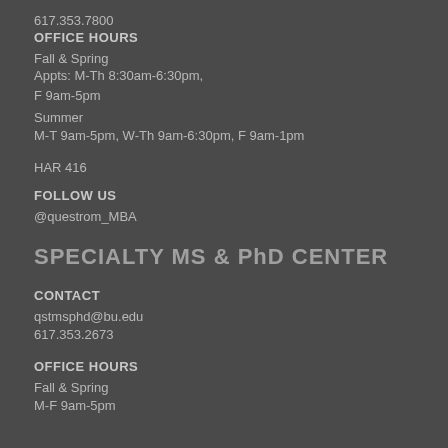617.353.7800
OFFICE HOURS
Fall & Spring
Appts: M-Th 8:30am-6:30pm, F 9am-5pm
Summer
M-T 9am-5pm, W-Th 9am-6:30pm, F 9am-1pm
HAR 416
FOLLOW US
@questrom_MBA
SPECIALTY MS & PhD CENTER
CONTACT
qstmsphd@bu.edu
617.353.2673
OFFICE HOURS
Fall & Spring
M-F 9am-5pm